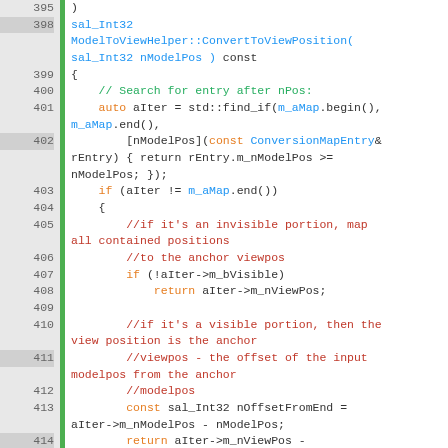[Figure (screenshot): Source code viewer showing C++ method ModelToViewHelper::ConvertToViewPosition with line numbers 395-422, syntax highlighted in multiple colors on white background with gray line number gutter and green vertical bar.]